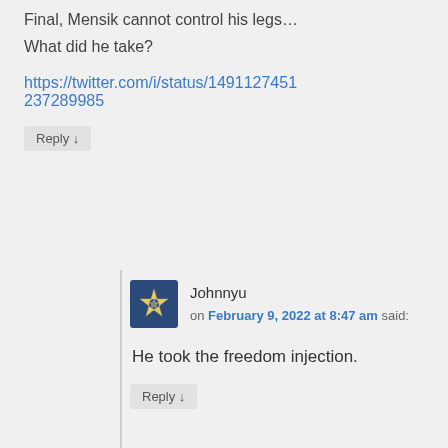Final, Mensik cannot control his legs… What did he take?
https://twitter.com/i/status/1491127451237289985
Reply ↓
Johnnyu
on February 9, 2022 at 8:47 am said:
He took the freedom injection.
Reply ↓